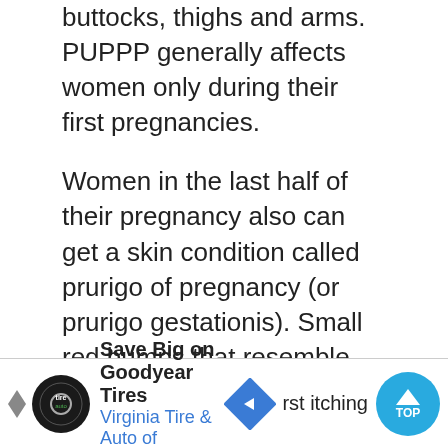buttocks, thighs and arms. PUPPP generally affects women only during their first pregnancies.
Women in the last half of their pregnancy also can get a skin condition called prurigo of pregnancy (or prurigo gestationis). Small red bumps that resemble bug bites appear on the arms and legs.
Neither of these conditions will harm your baby -- even though the itchy eruptions will try your sanity. Though there is no concrete evidence, many experts believe that PUPPP is your body's reaction to a rapidly expanding belly!
Expect the itching to last about six weeks and resolve
[Figure (infographic): Advertisement banner: Save Big on Goodyear Tires, Virginia Tire & Auto of Ashburn, with logo, directional sign icon, and TOP scroll button]